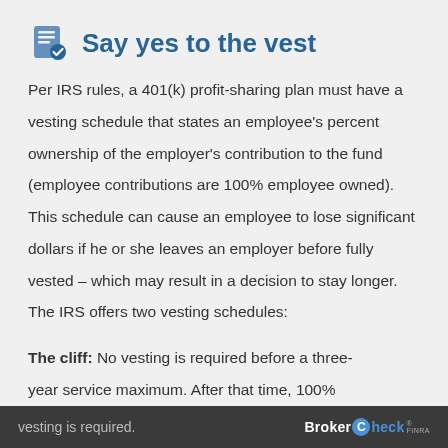Say yes to the vest
Per IRS rules, a 401(k) profit-sharing plan must have a vesting schedule that states an employee's percent ownership of the employer's contribution to the fund (employee contributions are 100% employee owned). This schedule can cause an employee to lose significant dollars if he or she leaves an employer before fully vested – which may result in a decision to stay longer. The IRS offers two vesting schedules:
The cliff: No vesting is required before a three-year service maximum. After that time, 100% vesting is required.
BrokerCheck FINRA